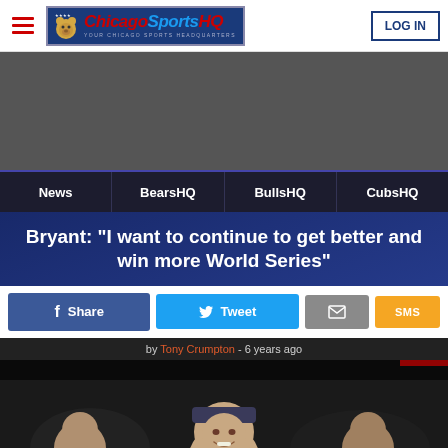ChicagoSportsHQ - Your Chicago Sports Headquarters | LOG IN
[Figure (other): Dark gray advertisement banner]
News | BearsHQ | BullsHQ | CubsHQ
Bryant: "I want to continue to get better and win more World Series"
Share | Tweet | (mail icon) | SMS
by Tony Crumpton - 6 years ago
[Figure (photo): Photo of Kris Bryant smiling, wearing a cap, at what appears to be a celebration event]